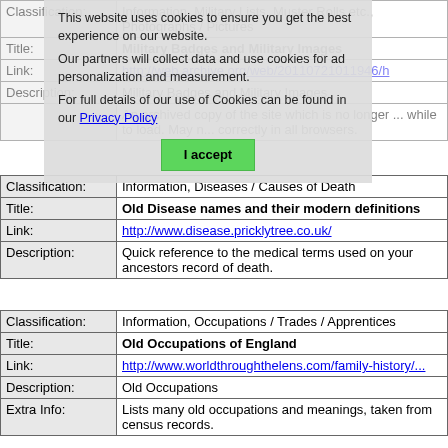| Classification: | Information, Military Lists, Muster Rolls etc., Photographs / Pictures |
| Title: | Military Badges and Military Images |
| Link: | http://web.archive.org/web/20110721011946/h |
| Description: | Military Badges and Military Images |
|  | An archived copy of the site which is no longer... while to load. May n... correctly in all browsers. |
[Figure (screenshot): Cookie consent overlay with text: 'This website uses cookies to ensure you get the best experience on our website. Our partners will collect data and use cookies for ad personalization and measurement. For full details of our use of Cookies can be found in our Privacy Policy' and an 'I accept' button.]
| Classification: | Information, Diseases / Causes of Death |
| Title: | Old Disease names and their modern definitions |
| Link: | http://www.disease.pricklytree.co.uk/ |
| Description: | Quick reference to the medical terms used on your ancestors record of death. |
| Classification: | Information, Occupations / Trades / Apprentices |
| Title: | Old Occupations of England |
| Link: | http://www.worldthroughthelens.com/family-history/... |
| Description: | Old Occupations |
| Extra Info: | Lists many old occupations and meanings, taken from census records. |